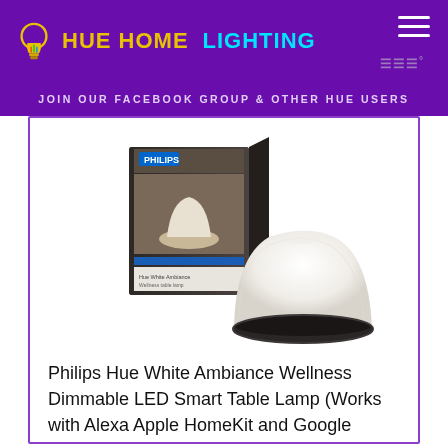HUE HOME LIGHTING
JOIN OUR FACEBOOK GROUP & OTHER HUE USERS
[Figure (photo): Product photo of Philips Hue White Ambiance Wellness table lamp (white mushroom-shaped lamp with black base) alongside its retail box packaging]
Philips Hue White Ambiance Wellness Dimmable LED Smart Table Lamp (Works with Alexa Apple HomeKit and Google Assistant)